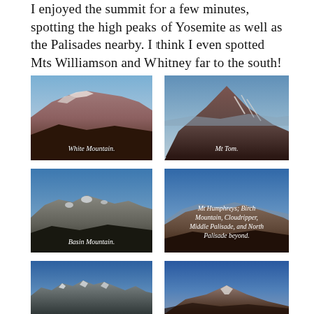I enjoyed the summit for a few minutes, spotting the high peaks of Yosemite as well as the Palisades nearby. I think I even spotted Mts Williamson and Whitney far to the south!
[Figure (photo): Mountain landscape photo labeled 'White Mountain.' showing a broad reddish-brown peak with snow patches under a blue sky]
[Figure (photo): Mountain landscape photo labeled 'Mt Tom.' showing a dark rocky peaked mountain with snow streaks under blue sky]
[Figure (photo): Mountain landscape photo labeled 'Basin Mountain.' showing a snowy mountain range with a dark foreground ridge]
[Figure (photo): Mountain landscape photo labeled 'Mt Humphreys; Birch Mountain, Cloudripper, Middle Palisade, and North Palisade beyond.' showing multiple peaks under blue sky]
[Figure (photo): Mountain landscape photo (partially visible at bottom) showing snow-capped peaks under blue sky]
[Figure (photo): Mountain landscape photo (partially visible at bottom) showing a prominent peak under blue sky]